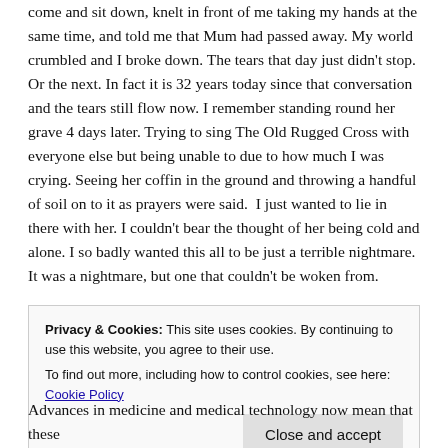come and sit down, knelt in front of me taking my hands at the same time, and told me that Mum had passed away. My world crumbled and I broke down. The tears that day just didn't stop. Or the next. In fact it is 32 years today since that conversation and the tears still flow now. I remember standing round her grave 4 days later. Trying to sing The Old Rugged Cross with everyone else but being unable to due to how much I was crying. Seeing her coffin in the ground and throwing a handful of soil on to it as prayers were said.  I just wanted to lie in there with her. I couldn't bear the thought of her being cold and alone. I so badly wanted this all to be just a terrible nightmare. It was a nightmare, but one that couldn't be woken from.
Her death certificate says she died of breast cancer primarily, and
Privacy & Cookies: This site uses cookies. By continuing to use this website, you agree to their use.
To find out more, including how to control cookies, see here: Cookie Policy
Advances in medicine and medical technology now mean that these